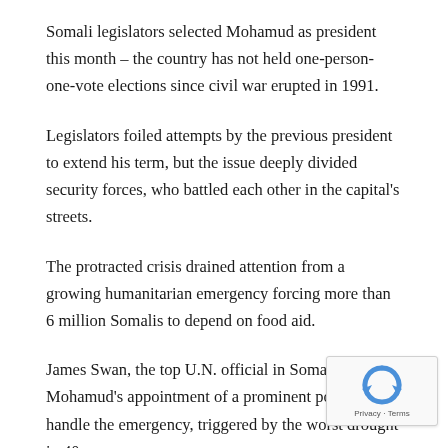Somali legislators selected Mohamud as president this month – the country has not held one-person-one-vote elections since civil war erupted in 1991.
Legislators foiled attempts by the previous president to extend his term, but the issue deeply divided security forces, who battled each other in the capital's streets.
The protracted crisis drained attention from a growing humanitarian emergency forcing more than 6 million Somalis to depend on food aid.
James Swan, the top U.N. official in Somalia, praised Mohamud's appointment of a prominent politician to handle the emergency, triggered by the worst drought in 40 years.
TOP PRIORITY
[Figure (logo): reCAPTCHA badge with recycling-arrow icon and Privacy · Terms text]